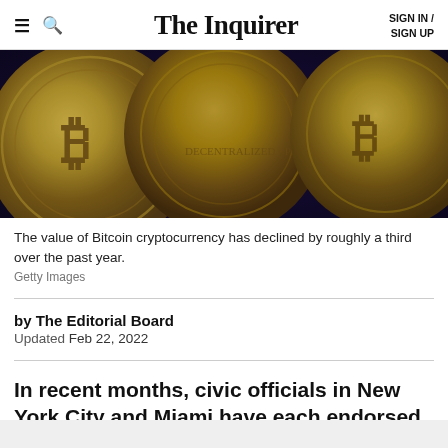The Inquirer | SIGN IN / SIGN UP
[Figure (photo): Close-up photograph of multiple gold Bitcoin cryptocurrency coins with engraved 'B' symbol and circuit-like patterns, set against a dark purple background.]
The value of Bitcoin cryptocurrency has declined by roughly a third over the past year.
Getty Images
by The Editorial Board
Updated Feb 22, 2022
In recent months, civic officials in New York City and Miami have each endorsed new plans to generate money for their cities' coffers using